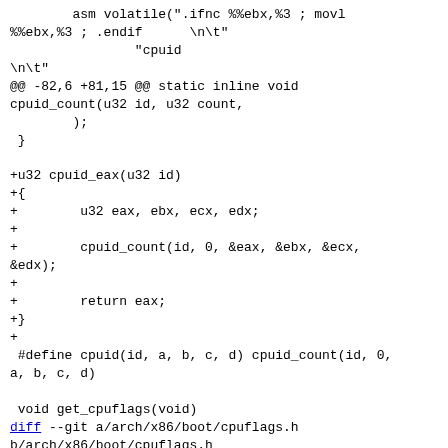asm volatile(".ifnc %%ebx,%3 ; movl %%ebx,%3 ; .endif      \n\t"
                "cpuid
\n\t"
@@ -82,6 +81,15 @@ static inline void cpuid_count(u32 id, u32 count,
        );
 }

+u32 cpuid_eax(u32 id)
+{
+        u32 eax, ebx, ecx, edx;
++
+        cpuid_count(id, 0, &eax, &ebx, &ecx, &edx);
++
+        return eax;
+}
++
 #define cpuid(id, a, b, c, d) cpuid_count(id, 0, a, b, c, d)

 void get_cpuflags(void)
diff --git a/arch/x86/boot/cpuflags.h b/arch/x86/boot/cpuflags.h
index 2e20814d3ce3..5a72233eb8fd 100644
--- a/arch/x86/boot/cpuflags.h
+++ b/arch/x86/boot/cpuflags.h
@@ -17,5 +17,7 @@ extern u32 cpu_vendor[3];